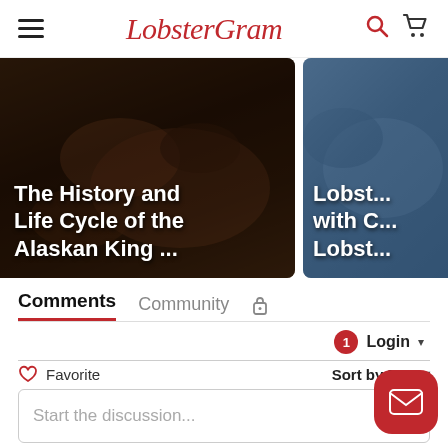LobsterGram
[Figure (screenshot): Card showing 'The History and Life Cycle of the Alaskan King ...' with dark lobster background image]
[Figure (screenshot): Card showing 'Lobst... with C... Lobst...' with blue background image, partially cut off]
Comments | Community | (lock icon)
1 Login ▾
♡ Favorite | Sort by Best ▾
Start the discussion...
LOG IN WITH
Lobster Gram